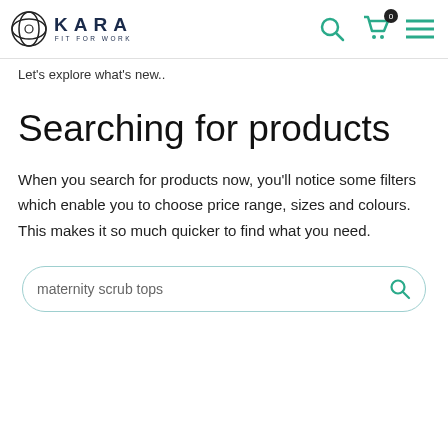KARA FIT FOR WORK
Let's explore what's new..
Searching for products
When you search for products now, you'll notice some filters which enable you to choose price range, sizes and colours. This makes it so much quicker to find what you need.
maternity scrub tops